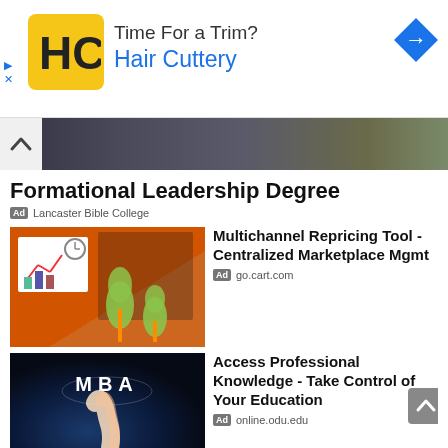[Figure (screenshot): Hair Cuttery advertisement banner with yellow HC logo, brand name in blue, and directional arrow icon]
[Figure (photo): Graduation ceremony photo strip showing graduates in caps and gowns]
Formational Leadership Degree
Ad  Lancaster Bible College
[Figure (illustration): Multichannel Repricing Tool ad image showing orange office room with business charts and cartoon tree character]
Multichannel Repricing Tool - Centralized Marketplace Mgmt
Ad  go.cart.com
[Figure (photo): MBA education ad image showing hand touching glowing MBA text against dark blue city background]
Access Professional Knowledge - Take Control of Your Education
Ad  online.odu.edu
[Figure (illustration): SAFe Scrum certification diagram with icons and SCRUM text]
SAFe® 5.1 SPC Certification - SPC Certificate Program